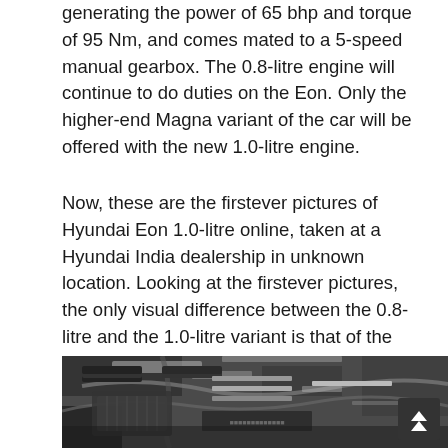generating the power of 65 bhp and torque of 95 Nm, and comes mated to a 5-speed manual gearbox. The 0.8-litre engine will continue to do duties on the Eon. Only the higher-end Magna variant of the car will be offered with the new 1.0-litre engine.
Now, these are the firstever pictures of Hyundai Eon 1.0-litre online, taken at a Hyundai India dealership in unknown location. Looking at the firstever pictures, the only visual difference between the 0.8-litre and the 1.0-litre variant is that of the badges, with the Eon 1.0-litre getting a 1.0 badge to pronounce its higher engine displacement. Other than badges, we don't find any other styling changes on the Eon 1.0-litre.
[Figure (photo): Black and white photograph of a car engine bay, showing engine components, wiring and mechanical parts.]